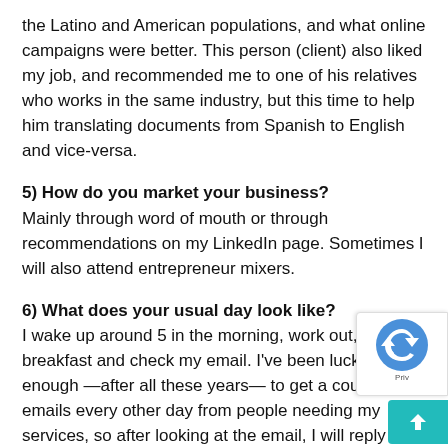the Latino and American populations, and what online campaigns were better. This person (client) also liked my job, and recommended me to one of his relatives who works in the same industry, but this time to help him translating documents from Spanish to English and vice-versa.
5) How do you market your business?
Mainly through word of mouth or through recommendations on my LinkedIn page. Sometimes I will also attend entrepreneur mixers.
6) What does your usual day look like?
I wake up around 5 in the morning, work out, have breakfast and check my email. I've been lucky enough —after all these years— to get a couple emails every other day from people needing my services, so after looking at the email, I will reply with the turn-around time and start working on the project. If it's a sm project I can be done before those 24 hours and continu day by reading, shopping, cleaning the house, etc. Wheneve